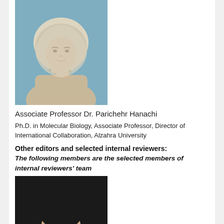[Figure (photo): Portrait photo of Associate Professor Dr. Parichehr Hanachi, a woman wearing a light-colored hijab]
Associate Professor Dr. Parichehr Hanachi
Ph.D. in Molecular Biology, Associate Professor, Director of International Collaboration, Alzahra University
Other editors and selected internal reviewers:
The following members are the selected members of internal reviewers' team
[Figure (photo): Portrait photo of Dr. Mahmoud Yousefifard, a young man in a dark suit]
Dr. Mahmoud Yousefifard, Ph.D.
Associate editor
Physiology Research Center and Department of Physiology, Faculty of Medicine, Iran University of Medical Sciences, Tehran, Iran